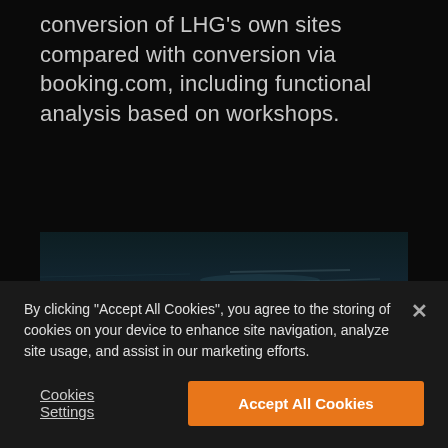conversion of LHG’s own sites compared with conversion via booking.com, including functional analysis based on workshops.
[Figure (photo): Dark atmospheric image showing a dim, textured surface with subtle blue-green tones, possibly a wet or dark landscape.]
By clicking “Accept All Cookies”, you agree to the storing of cookies on your device to enhance site navigation, analyze site usage, and assist in our marketing efforts.
Cookies Settings
Accept All Cookies